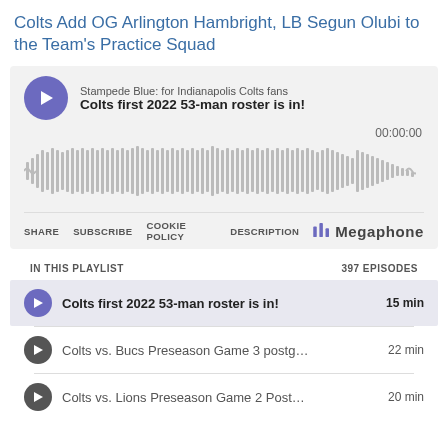Colts Add OG Arlington Hambright, LB Segun Olubi to the Team's Practice Squad
[Figure (screenshot): Embedded podcast player widget showing Stampede Blue podcast episode 'Colts first 2022 53-man roster is in!' with waveform, time display 00:00:00, share/subscribe/cookie policy/description controls, Megaphone branding, and a playlist showing 397 episodes including: 'Colts first 2022 53-man roster is in!' (15 min), 'Colts vs. Bucs Preseason Game 3 postg...' (22 min), 'Colts vs. Lions Preseason Game 2 Post...' (20 min).]